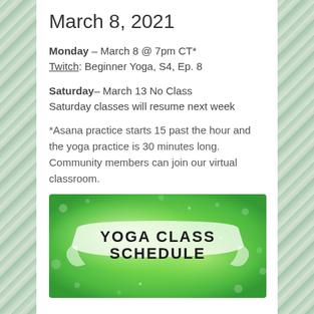March 8, 2021
Monday – March 8 @ 7pm CT*
Twitch: Beginner Yoga, S4, Ep. 8
Saturday– March 13 No Class
Saturday classes will resume next week
*Asana practice starts 15 past the hour and the yoga practice is 30 minutes long. Community members can join our virtual classroom.
[Figure (illustration): Green bokeh background with a white banner containing bold black text reading 'YOGA CLASS SCHEDULE']